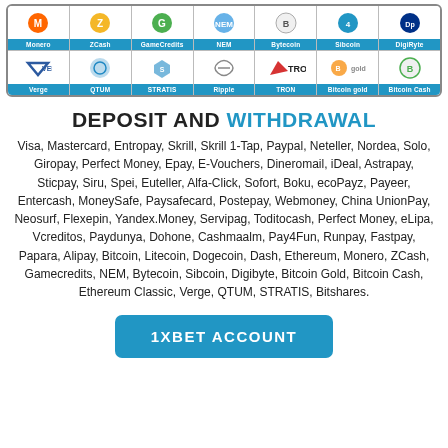[Figure (other): Grid of cryptocurrency logos including Monero, ZCash, GameCredits, NEM, Bytecoin, Sibcoin, DigiByte (top row) and Verge, QTUM, STRATIS, Ripple, TRON, Bitcoin Gold, Bitcoin Cash (bottom row)]
DEPOSIT AND WITHDRAWAL
Visa, Mastercard, Entropay, Skrill, Skrill 1-Tap, Paypal, Neteller, Nordea, Solo, Giropay, Perfect Money, Epay, E-Vouchers, Dineromail, iDeal, Astrapay, Sticpay, Siru, Spei, Euteller, Alfa-Click, Sofort, Boku, ecoPayz, Payeer, Entercash, MoneySafe, Paysafecard, Postepay, Webmoney, China UnionPay, Neosurf, Flexepin, Yandex.Money, Servipag, Toditocash, Perfect Money, eLipa, Vcreditos, Paydunya, Dohone, Cashmaalm, Pay4Fun, Runpay, Fastpay, Papara, Alipay, Bitcoin, Litecoin, Dogecoin, Dash, Ethereum, Monero, ZCash, Gamecredits, NEM, Bytecoin, Sibcoin, Digibyte, Bitcoin Gold, Bitcoin Cash, Ethereum Classic, Verge, QTUM, STRATIS, Bitshares.
1XBET ACCOUNT